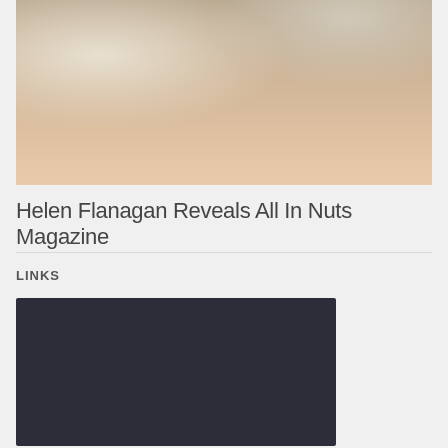[Figure (photo): A photograph of a blonde woman in an indoor setting with a mirror and furniture visible in the background]
Helen Flanagan Reveals All In Nuts Magazine
LINKS
[Figure (photo): Dark rectangular image block, appears to be a linked media item or video thumbnail]